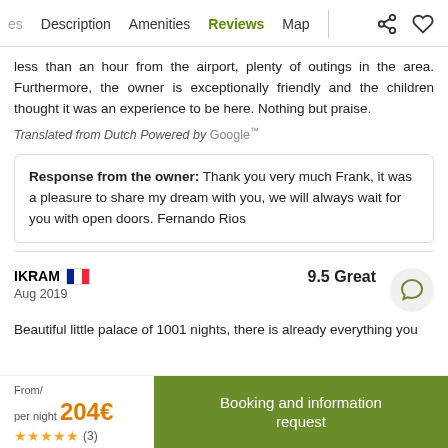es  Description  Amenities  Reviews  Map
less than an hour from the airport, plenty of outings in the area. Furthermore, the owner is exceptionally friendly and the children thought it was an experience to be here. Nothing but praise.
Translated from Dutch Powered by Google™
Response from the owner: Thank you very much Frank, it was a pleasure to share my dream with you, we will always wait for you with open doors. Fernando Rios
IKRAM  Aug 2019   9.5 Great
Beautiful little palace of 1001 nights, there is already everything you
From/ per night 204€ ★★★★★ (3)  Booking and information request